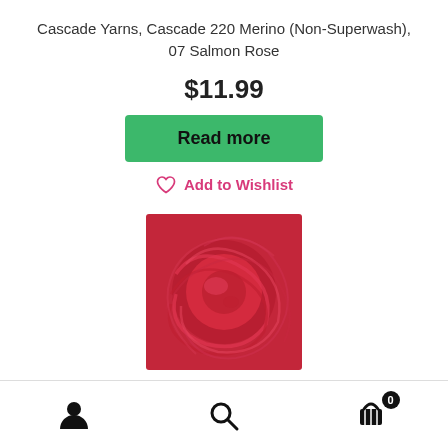Cascade Yarns, Cascade 220 Merino (Non-Superwash), 07 Salmon Rose
$11.99
Read more
Add to Wishlist
[Figure (photo): A skein of red/crimson merino yarn (Cascade 220 Merino, 07 Salmon Rose) photographed close-up, showing twisted strands.]
Navigation bar with account icon, search icon, and cart icon (0 items)